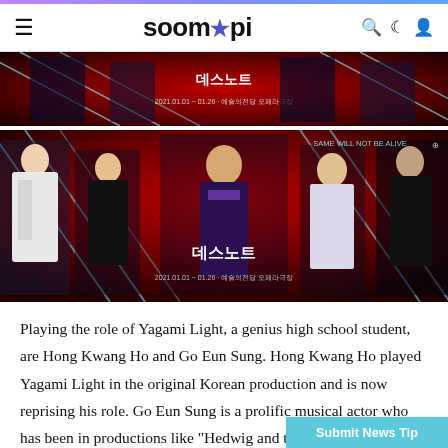soompi
[Figure (photo): Death Note musical promotional banner image, top crop, red and dark background with cast characters]
[Figure (photo): Death Note musical promotional poster showing full cast of 5 characters on red background with Korean text logo]
Playing the role of Yagami Light, a genius high school student, are Hong Kwang Ho and Go Eun Sung. Hong Kwang Ho played Yagami Light in the original Korean production and is now reprising his role. Go Eun Sung is a prolific musical actor who has been in productions like "Hedwig and the Angry Inch," "A Gentleman's Guide to Love and Murder," "The Great Comet," and "